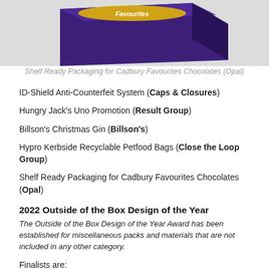[Figure (photo): Purple Cadbury Favourites shelf ready packaging box photographed on a light grey background]
Shelf Ready Packaging for Cadbury Favourites Chocolates (Opal)
ID-Shield Anti-Counterfeit System (Caps & Closures)
Hungry Jack's Uno Promotion (Result Group)
Billson's Christmas Gin (Billson's)
Hypro Kerbside Recyclable Petfood Bags (Close the Loop Group)
Shelf Ready Packaging for Cadbury Favourites Chocolates (Opal)
2022 Outside of the Box Design of the Year
The Outside of the Box Design of the Year Award has been established for miscellaneous packs and materials that are not included in any other category.
Finalists are: